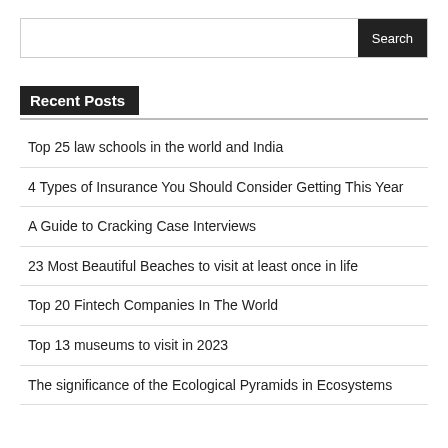Recent Posts
Top 25 law schools in the world and India
4 Types of Insurance You Should Consider Getting This Year
A Guide to Cracking Case Interviews
23 Most Beautiful Beaches to visit at least once in life
Top 20 Fintech Companies In The World
Top 13 museums to visit in 2023
The significance of the Ecological Pyramids in Ecosystems